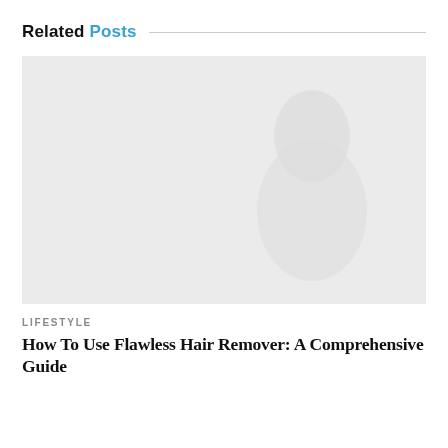Related Posts
[Figure (photo): A light gray placeholder image with a faint ghostly outline of a person or subject in the background.]
LIFESTYLE
How To Use Flawless Hair Remover: A Comprehensive Guide